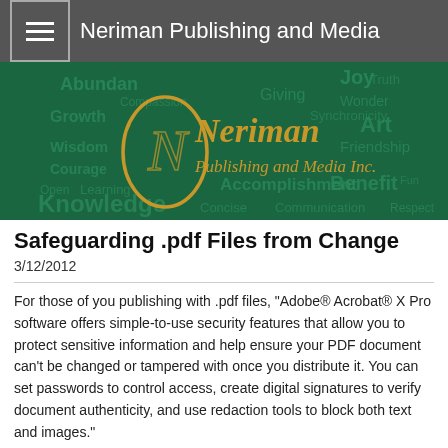Neriman Publishing and Media
[Figure (logo): Neriman Publishing and Media Inc. logo on dark green background with word cloud (Abundance, Joy, Truth, Compassion, Giving, Wonder, Growth, Synchronicity, Art, Wisdom, Courage, Friendship, Open, Learning, Accomplishment, Benefit, Fun, Knowledge, Concise, Communication, Respect)]
Safeguarding .pdf Files from Change
3/12/2012
For those of you publishing with .pdf files, "Adobe® Acrobat® X Pro software offers simple-to-use security features that allow you to protect sensitive information and help ensure your PDF document can't be changed or tampered with once you distribute it. You can set passwords to control access, create digital signatures to verify document authenticity, and use redaction tools to block both text and images."
Neriman Publishing and Media